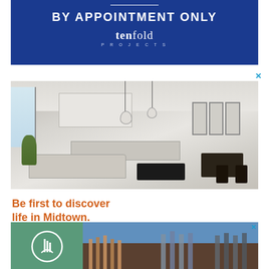[Figure (other): Blue banner advertisement for Tenfold Projects reading 'BY APPOINTMENT ONLY' with a horizontal line above and the Tenfold Projects logo below]
[Figure (photo): Interior photo of a modern open-plan living/dining/kitchen area with white brick walls, pendant lights, kitchen island with bar stools, sofa, black coffee table, dining table and chairs, wall art including Eiffel Tower print, and a plant]
Be first to discover life in Midtown.
[Figure (other): Second advertisement at the bottom showing a green circular logo on the left and a photo of modern residential buildings on the right]